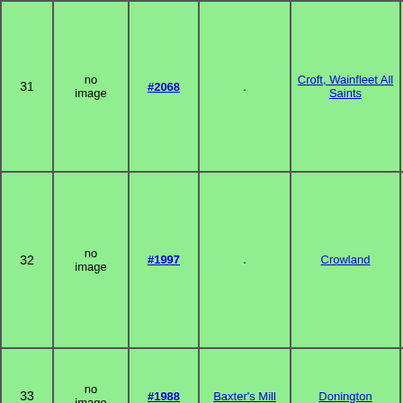| # | Image | Ref | Mill | Place | Info |
| --- | --- | --- | --- | --- | --- |
| 31 | no image | #2068 | . | Croft, Wainfleet All Saints | (53.11259... OS map - OS 6in hi... Google M... aerial, Du... & Bing ma... OpenStre... geograph... |
| 32 | no image | #1997 | . | Crowland | NGR: TF... (52.67403... OS map - OS 6in hi... Google M... aerial, Du... & Bing ma... OpenStre... geograph... |
| 33 | no image | #1988 | Baxter's Mill | Donington | NGR: TF... (52.89789... OS map - OS 6in hi... |